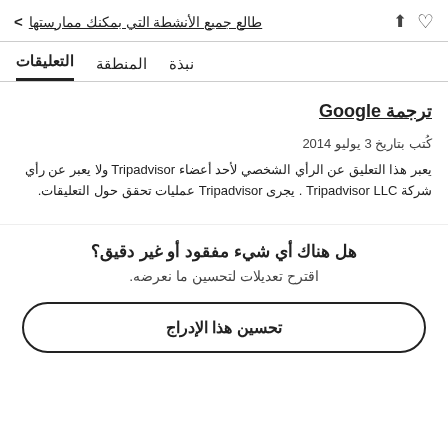طالع جميع الأنشطة التي بمكنك ممارستها
التعليقات  المنطقة  نبذة
ترجمة Google
كُتب بتاريخ 3 يوليو 2014
يعبر هذا التعليق عن الرأي الشخصي لأحد أعضاء Tripadvisor ولا يعبر عن رأي شركة Tripadvisor LLC . يجرى Tripadvisor عمليات تحقق حول التعليقات.
هل هناك أي شيء مفقود أو غير دقيق؟
اقترح تعديلات لتحسين ما نعرضه.
تحسين هذا الإدراج